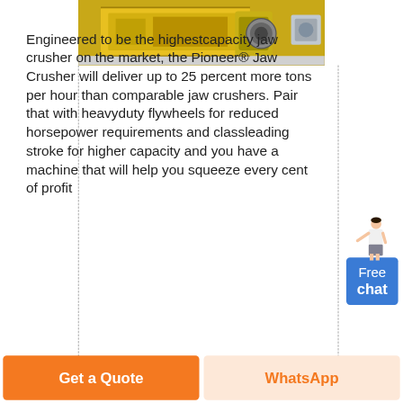[Figure (photo): Top portion of a yellow jaw crusher machine on a concrete surface]
Engineered to be the highestcapacity jaw crusher on the market, the Pioneer® Jaw Crusher will deliver up to 25 percent more tons per hour than comparable jaw crushers. Pair that with heavyduty flywheels for reduced horsepower requirements and classleading stroke for higher capacity and you have a machine that will help you squeeze every cent of profit
[Figure (illustration): Customer service representative figure with Free chat button]
Get a Quote
WhatsApp